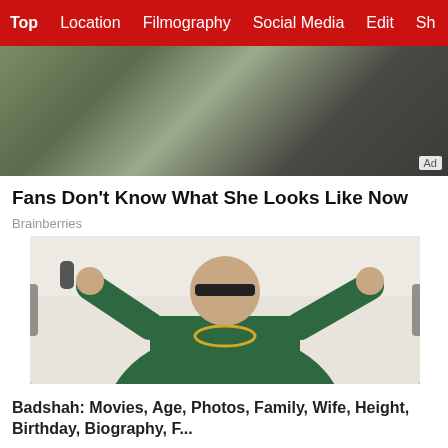Top  Location  Filmography  Social Media  Edit  Sh
[Figure (photo): Advertisement photo showing a woman with dark hair outdoors, with an 'Ad' badge in the bottom-right corner]
Fans Don't Know What She Looks Like Now
Brainberries
[Figure (photo): Photo of Badshah, a male rap artist wearing sunglasses, a green velvet jacket, black turtleneck, and gold chain, with hands raised, against a light background]
Badshah: Movies, Age, Photos, Family, Wife, Height, Birthday, Biography, F...